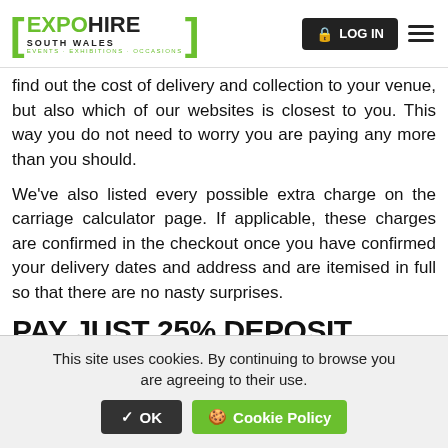EXPO HIRE SOUTH WALES — EVENTS · EXHIBITIONS · OCCASIONS | LOG IN
find out the cost of delivery and collection to your venue, but also which of our websites is closest to you. This way you do not need to worry you are paying any more than you should.
We've also listed every possible extra charge on the carriage calculator page. If applicable, these charges are confirmed in the checkout once you have confirmed your delivery dates and address and are itemised in full so that there are no nasty surprises.
PAY JUST 25% DEPOSIT WHEN PLACING LARGE EVENT HIRE
This site uses cookies. By continuing to browse you are agreeing to their use.